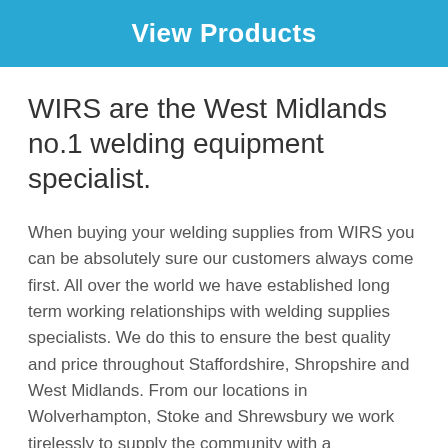View Products
WIRS are the West Midlands no.1 welding equipment specialist.
When buying your welding supplies from WIRS you can be absolutely sure our customers always come first. All over the world we have established long term working relationships with welding supplies specialists. We do this to ensure the best quality and price throughout Staffordshire, Shropshire and West Midlands. From our locations in Wolverhampton, Stoke and Shrewsbury we work tirelessly to supply the community with a comprehensive range of